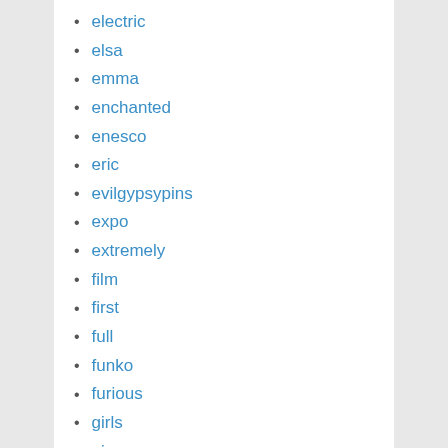electric
elsa
emma
enchanted
enesco
eric
evilgypsypins
expo
extremely
film
first
full
funko
furious
girls
giuseppe
good
halle
hamilton
hand
harveys
heart
holiday